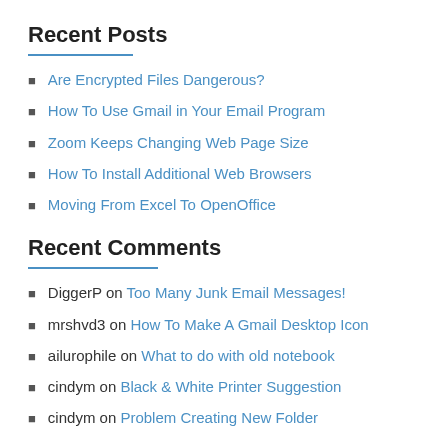Recent Posts
Are Encrypted Files Dangerous?
How To Use Gmail in Your Email Program
Zoom Keeps Changing Web Page Size
How To Install Additional Web Browsers
Moving From Excel To OpenOffice
Recent Comments
DiggerP on Too Many Junk Email Messages!
mrshvd3 on How To Make A Gmail Desktop Icon
ailurophile on What to do with old notebook
cindym on Black & White Printer Suggestion
cindym on Problem Creating New Folder